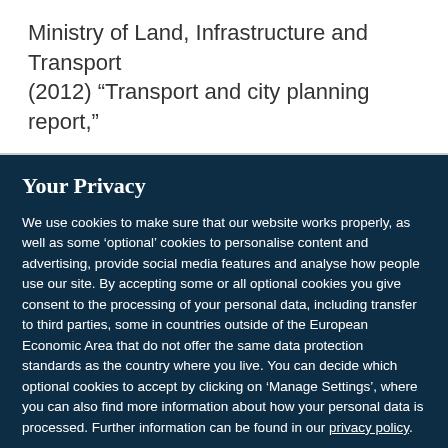Ministry of Land, Infrastructure and Transport (2012) “Transport and city planning report,”
Your Privacy
We use cookies to make sure that our website works properly, as well as some ‘optional’ cookies to personalise content and advertising, provide social media features and analyse how people use our site. By accepting some or all optional cookies you give consent to the processing of your personal data, including transfer to third parties, some in countries outside of the European Economic Area that do not offer the same data protection standards as the country where you live. You can decide which optional cookies to accept by clicking on ‘Manage Settings’, where you can also find more information about how your personal data is processed. Further information can be found in our privacy policy.
Accept all cookies
Manage preferences